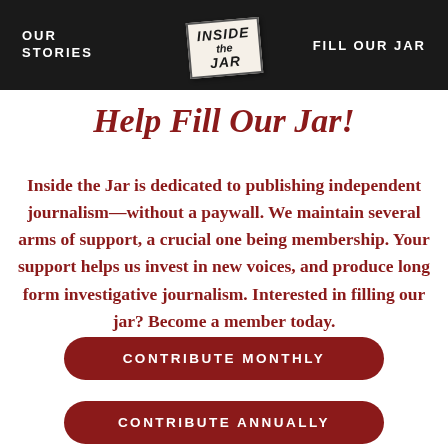OUR STORIES | INSIDE THE JAR (logo) | FILL OUR JAR
Help Fill Our Jar!
Inside the Jar is dedicated to publishing independent journalism—without a paywall. We maintain several arms of support, a crucial one being membership. Your support helps us invest in new voices, and produce long form investigative journalism. Interested in filling our jar? Become a member today.
CONTRIBUTE MONTHLY
CONTRIBUTE ANNUALLY